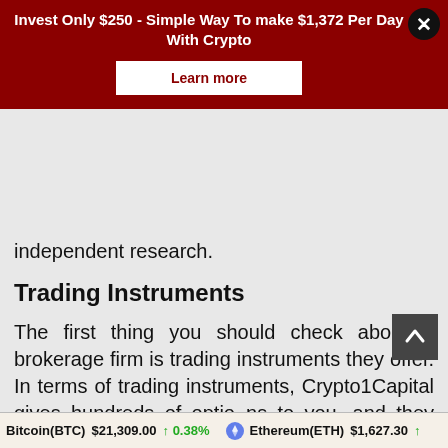[Figure (screenshot): Dark red advertisement banner with white text: 'Invest Only $250 - Simple Way To make $1,372 Per Day With Crypto' and a white 'Learn more' button, with a black X close button in the top right corner.]
independent research.
Trading Instruments
The first thing you should check about a brokerage firm is trading instruments they offer. In terms of trading instruments, Crypto1Capital gives hundreds of options to you, and they assist every trader in choosing something that meets their needs. Whatever
Bitcoin(BTC) $21,309.00 ↑ 0.38%     Ethereum(ETH) $1,627.30 ↑